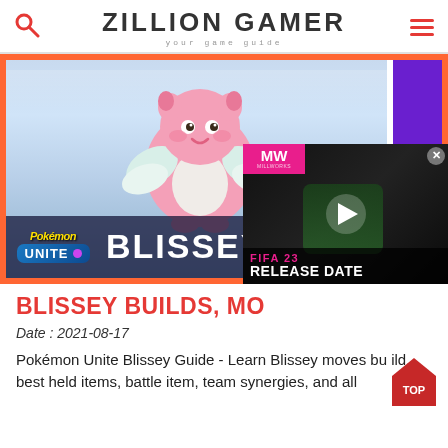ZILLION GAMER — your game guide
[Figure (screenshot): Blissey Pokémon Unite hero image with orange border and purple stripe accent. Shows Blissey character floating in a blue sky background. Bottom banner shows Pokémon Unite logo and 'BLISSEY BUILDS' text in white. Ad overlay in bottom-right corner shows MW (MetaWorks) badge with FIFA 23 Release Date video thumbnail.]
BLISSEY BUILDS, MO
Date : 2021-08-17
Pokémon Unite Blissey Guide - Learn Blissey moves bu ild, best held items, battle item, team synergies, and all